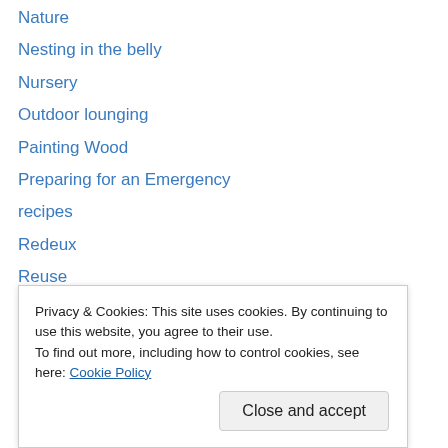Nature
Nesting in the belly
Nursery
Outdoor lounging
Painting Wood
Preparing for an Emergency
recipes
Redeux
Reuse
Self-care
Shop Small
Spirit of America
Succulents
System Failure
Privacy & Cookies: This site uses cookies. By continuing to use this website, you agree to their use.
To find out more, including how to control cookies, see here: Cookie Policy
warm wishes